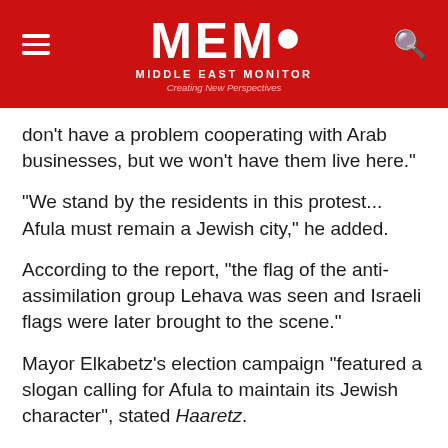MEMO MIDDLE EAST MONITOR Creating New Perspectives
don't have a problem cooperating with Arab businesses, but we won't have them live here."
"We stand by the residents in this protest... Afula must remain a Jewish city," he added.
According to the report, "the flag of the anti-assimilation group Lehava was seen and Israeli flags were later brought to the scene."
Mayor Elkabetz's election campaign "featured a slogan calling for Afula to maintain its Jewish character", stated Haaretz.
Opinion: Why don't we hear calls to boycott